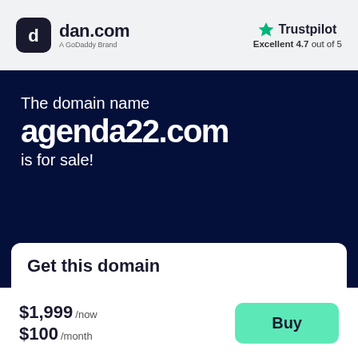[Figure (logo): dan.com logo - dark rounded square icon with 'd' letter, followed by text 'dan.com' and subtitle 'A GoDaddy Brand']
[Figure (logo): Trustpilot logo with green star, 'Trustpilot' text, and rating 'Excellent 4.7 out of 5']
The domain name agenda22.com is for sale!
Get this domain
$1,999 /now $100 /month
Buy